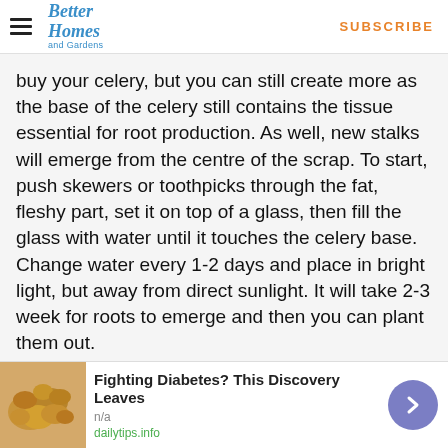Better Homes and Gardens | SUBSCRIBE
buy your celery, but you can still create more as the base of the celery still contains the tissue essential for root production. As well, new stalks will emerge from the centre of the scrap. To start, push skewers or toothpicks through the fat, fleshy part, set it on top of a glass, then fill the glass with water until it touches the celery base. Change water every 1-2 days and place in bright light, but away from direct sunlight. It will take 2-3 week for roots to emerge and then you can plant them out.
[Figure (photo): Gray advertisement placeholder box]
[Figure (photo): Advertisement banner: Fighting Diabetes? This Discovery Leaves - cashews image, dailytips.info]